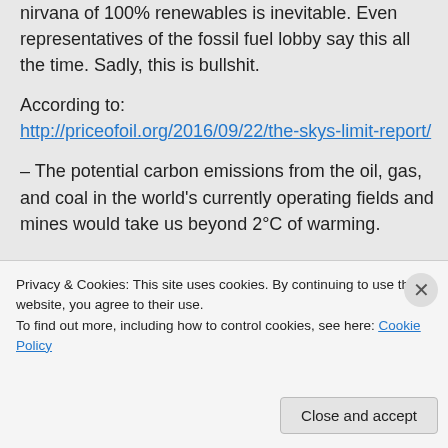nirvana of 100% renewables is inevitable. Even representatives of the fossil fuel lobby say this all the time. Sadly, this is bullshit.
According to:
http://priceofoil.org/2016/09/22/the-skys-limit-report/
– The potential carbon emissions from the oil, gas, and coal in the world's currently operating fields and mines would take us beyond 2°C of warming.
The reserves in currently operating oil
Privacy & Cookies: This site uses cookies. By continuing to use this website, you agree to their use.
To find out more, including how to control cookies, see here: Cookie Policy
Close and accept